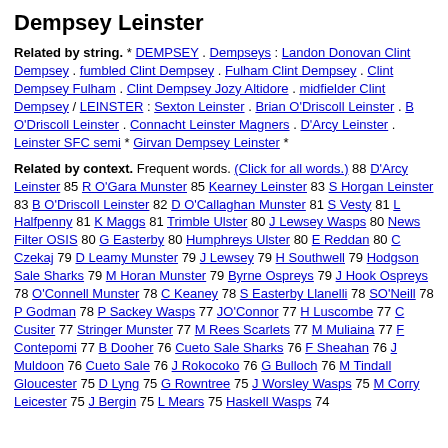Dempsey Leinster
Related by string. * DEMPSEY . Dempseys : Landon Donovan Clint Dempsey . fumbled Clint Dempsey . Fulham Clint Dempsey . Clint Dempsey Fulham . Clint Dempsey Jozy Altidore . midfielder Clint Dempsey / LEINSTER : Sexton Leinster . Brian O'Driscoll Leinster . B O'Driscoll Leinster . Connacht Leinster Magners . D'Arcy Leinster . Leinster SFC semi * Girvan Dempsey Leinster *
Related by context. Frequent words. (Click for all words.) 88 D'Arcy Leinster 85 R O'Gara Munster 85 Kearney Leinster 83 S Horgan Leinster 83 B O'Driscoll Leinster 82 D O'Callaghan Munster 81 S Vesty 81 L Halfpenny 81 K Maggs 81 Trimble Ulster 80 J Lewsey Wasps 80 News Filter OSIS 80 G Easterby 80 Humphreys Ulster 80 E Reddan 80 C Czekaj 79 D Leamy Munster 79 J Lewsey 79 H Southwell 79 Hodgson Sale Sharks 79 M Horan Munster 79 Byrne Ospreys 79 J Hook Ospreys 78 O'Connell Munster 78 C Keaney 78 S Easterby Llanelli 78 SO'Neill 78 P Godman 78 P Sackey Wasps 77 JO'Connor 77 H Luscombe 77 C Cusiter 77 Stringer Munster 77 M Rees Scarlets 77 M Muliaina 77 F Contepomi 77 B Dooher 76 Cueto Sale Sharks 76 F Sheahan 76 J Muldoon 76 Cueto Sale 76 J Rokocoko 76 G Bulloch 76 M Tindall Gloucester 75 D Lyng 75 G Rowntree 75 J Worsley Wasps 75 M Corry Leicester 75 J Bergin 75 L Mears 75 Haskell Wasps 74